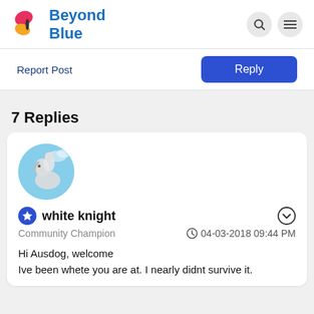[Figure (logo): Beyond Blue logo with butterfly icon in pink and yellow, and blue text reading Beyond Blue]
Report Post
Reply
7 Replies
[Figure (photo): Circular avatar showing a white horse statue against blue sky]
white knight
Community Champion
04-03-2018 09:44 PM
Hi Ausdog, welcome
Ive been whete you are at. I nearly didnt survive it.